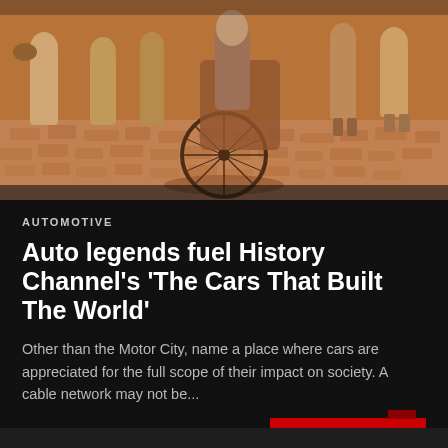[Figure (photo): Historical street scene with people in period clothing, a bicycle/rickshaw visible, cobblestone ground, warm sepia-toned lighting]
AUTOMOTIVE
Auto legends fuel History Channel's 'The Cars That Built The World'
Other than the Motor City, name a place where cars are appreciated for the full scope of their impact on society. A cable network may not be...
Nikholas — May 30, 2021
READ MORE